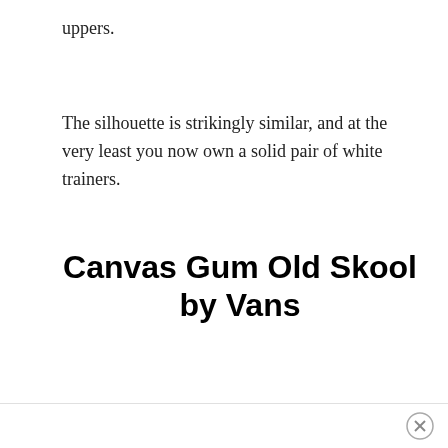uppers.
The silhouette is strikingly similar, and at the very least you now own a solid pair of white trainers.
Canvas Gum Old Skool by Vans
[Figure (photo): A white canvas Vans Old Skool sneaker with a gum (tan/brown) rubber sole, shown in side profile on a white background.]